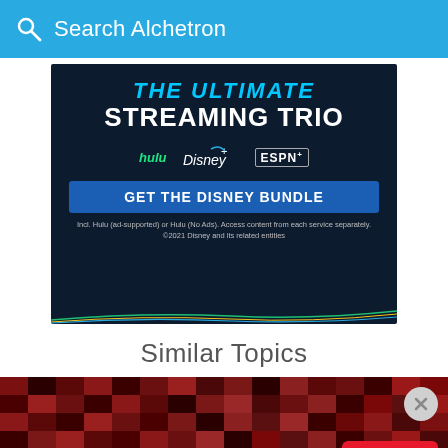Search Alchetron
[Figure (screenshot): Disney Bundle advertisement showing 'THE ULTIMATE STREAMING TRIO' with Hulu, Disney+, and ESPN+ logos, a blue 'GET THE DISNEY BUNDLE' button, and fine print about included services.]
Similar Topics
[Figure (photo): Dark pixelated red/maroon mosaic background with a close button (X) in the top right and a Covid-19 badge in the bottom right.]